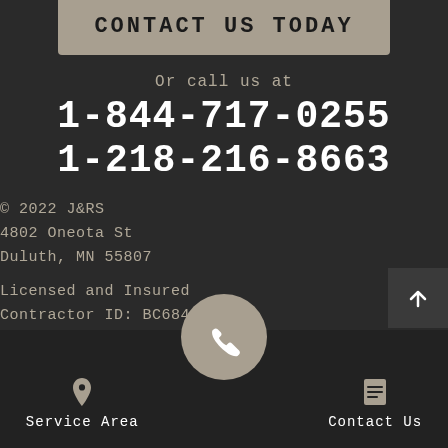CONTACT US TODAY
Or call us at
1-844-717-0255
1-218-216-8663
© 2022 J&RS
4802 Oneota St
Duluth, MN 55807
Licensed and Insured
Contractor ID: BC684962
Service Area
Contact Us